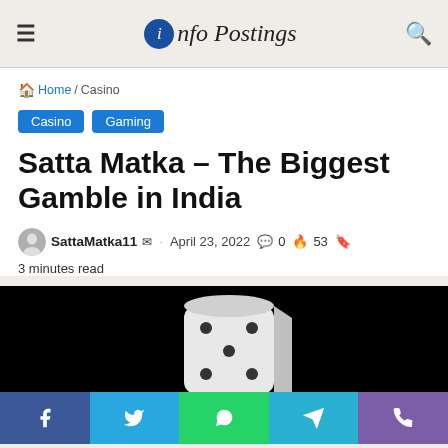Info Postings
Home / Casino
Casino  Gaming
Satta Matka – The Biggest Gamble in India
SattaMatka11  ·  April 23, 2022  💬 0  🔥 53  🔖 3 minutes read
[Figure (photo): A white dice on black background, partially visible at bottom of frame]
Facebook  Twitter  WhatsApp  Telegram  Phone share buttons